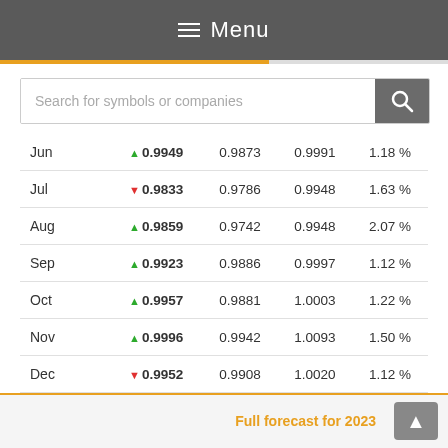Menu
Search for symbols or companies
| Month | Close | Low | High | Change% |
| --- | --- | --- | --- | --- |
| Jun | ▲ 0.9949 | 0.9873 | 0.9991 | 1.18 % |
| Jul | ▼ 0.9833 | 0.9786 | 0.9948 | 1.63 % |
| Aug | ▲ 0.9859 | 0.9742 | 0.9948 | 2.07 % |
| Sep | ▲ 0.9923 | 0.9886 | 0.9997 | 1.12 % |
| Oct | ▲ 0.9957 | 0.9881 | 1.0003 | 1.22 % |
| Nov | ▲ 0.9996 | 0.9942 | 1.0093 | 1.50 % |
| Dec | ▼ 0.9952 | 0.9908 | 1.0020 | 1.12 % |
Full forecast for 2023